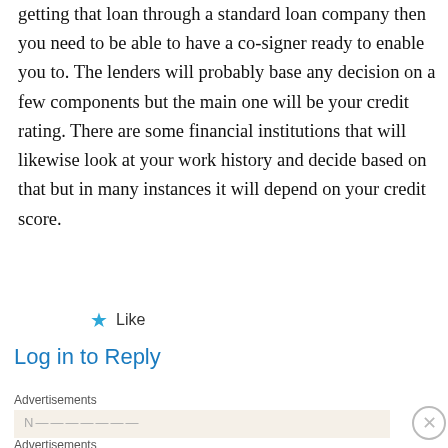getting that loan through a standard loan company then you need to be able to have a co-signer ready to enable you to. The lenders will probably base any decision on a few components but the main one will be your credit rating. There are some financial institutions that will likewise look at your work history and decide based on that but in many instances it will depend on your credit score.
★ Like
Log in to Reply
Advertisements
[Figure (screenshot): Advertisements banner area with partially visible blurred text]
Advertisements
[Figure (screenshot): DuckDuckGo advertisement banner: Search, browse, and email with more privacy. All in One Free App]